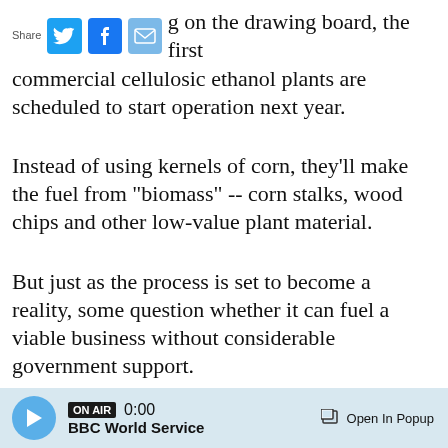Share [Twitter] [Facebook] [Email] g on the drawing board, the first commercial cellulosic ethanol plants are scheduled to start operation next year.
Instead of using kernels of corn, they'll make the fuel from "biomass" -- corn stalks, wood chips and other low-value plant material.
But just as the process is set to become a reality, some question whether it can fuel a viable business without considerable government support.
One of the first cellulosic ethanol plants is nearing completion just 30 miles south of the Minnesota border in northwest Iowa, where more than 300
ON AIR 0:00 BBC World Service Open In Popup